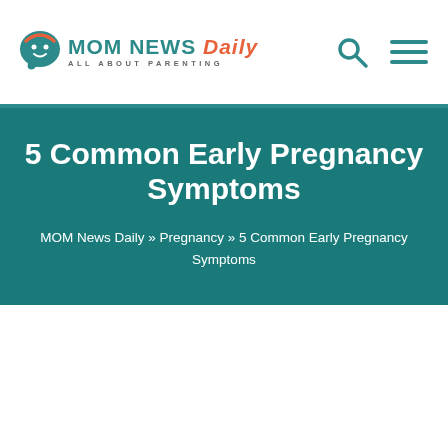MOM NEWS Daily — ALL ABOUT PARENTING
5 Common Early Pregnancy Symptoms
MOM News Daily » Pregnancy » 5 Common Early Pregnancy Symptoms